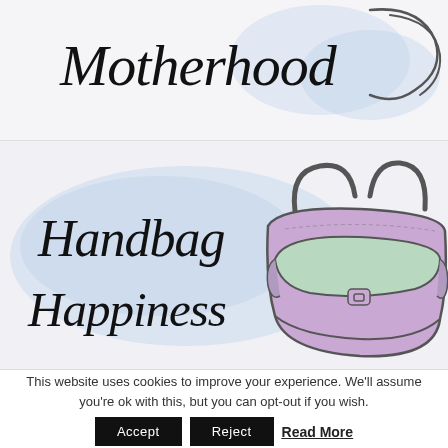[Figure (illustration): Top portion of a blog header showing cursive/handwritten text 'Motherhood' with a partial decorative heart or swirl shape on the right, on a light gray background with a blue watercolor wash]
[Figure (illustration): Blog section header illustration showing cursive/handwritten text 'Handbag Happiness' on the left with a blue watercolor blob behind the text, and an illustrated purple/lavender handbag with mint green accents on the right, on a light gray background]
This website uses cookies to improve your experience. We'll assume you're ok with this, but you can opt-out if you wish.
Accept  Reject  Read More